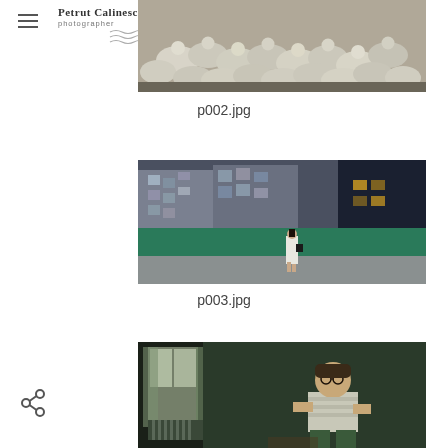Petrut Calinescu photographer
[Figure (photo): A large flock of sheep crowded together, photographed from above]
p002.jpg
[Figure (photo): A woman in a white dress walking along a road next to a green construction fence, with apartment buildings in the background at dusk]
p003.jpg
[Figure (photo): A man sitting in a dimly lit room near a window with curtains, with a radiator visible]